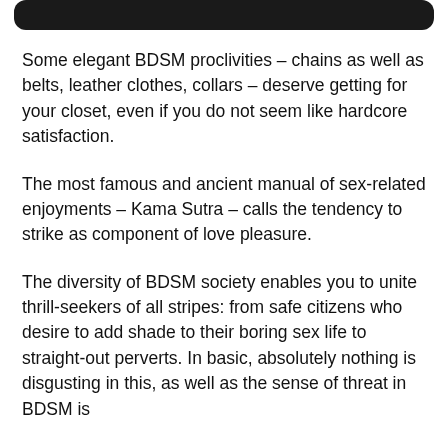[Figure (other): Dark rounded rectangle bar at top of page]
Some elegant BDSM proclivities – chains as well as belts, leather clothes, collars – deserve getting for your closet, even if you do not seem like hardcore satisfaction.
The most famous and ancient manual of sex-related enjoyments – Kama Sutra – calls the tendency to strike as component of love pleasure.
The diversity of BDSM society enables you to unite thrill-seekers of all stripes: from safe citizens who desire to add shade to their boring sex life to straight-out perverts. In basic, absolutely nothing is disgusting in this, as well as the sense of threat in BDSM is